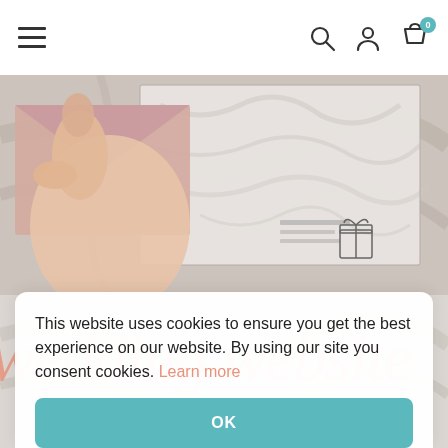Navigation bar with hamburger menu, search, account, and cart icons
[Figure (photo): A hand holding a pink envelope and a marble-textured card/invitation on a marble surface, with a small gift icon stamp visible]
[Figure (photo): A marble background with pink cursive text reading 'wedding website', partially obscured by a cookie consent overlay and hands holding items]
This website uses cookies to ensure you get the best experience on our website. By using our site you consent cookies. Learn more
OK